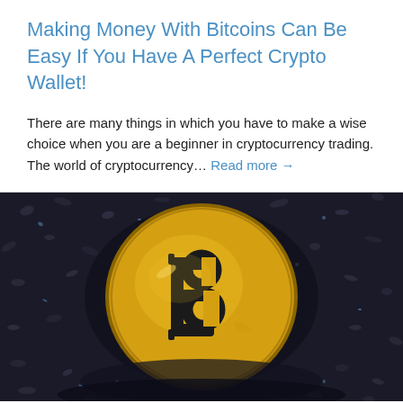Making Money With Bitcoins Can Be Easy If You Have A Perfect Crypto Wallet!
There are many things in which you have to make a wise choice when you are a beginner in cryptocurrency trading. The world of cryptocurrency... Read more →
[Figure (photo): A gold Bitcoin coin sitting on dark granular material (crushed rock or coal), showing the Bitcoin 'B' symbol prominently on the face of the coin.]